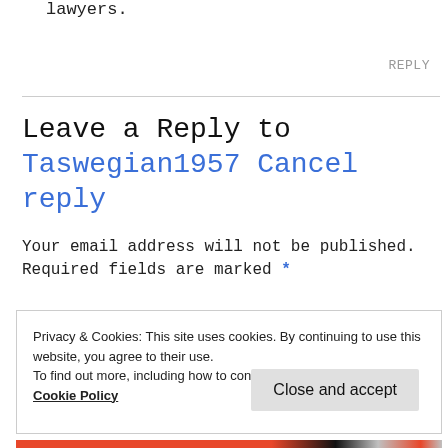lawyers.
REPLY
Leave a Reply to Taswegian1957 Cancel reply
Your email address will not be published. Required fields are marked *
Privacy & Cookies: This site uses cookies. By continuing to use this website, you agree to their use.
To find out more, including how to control cookies, see here: Cookie Policy
Close and accept